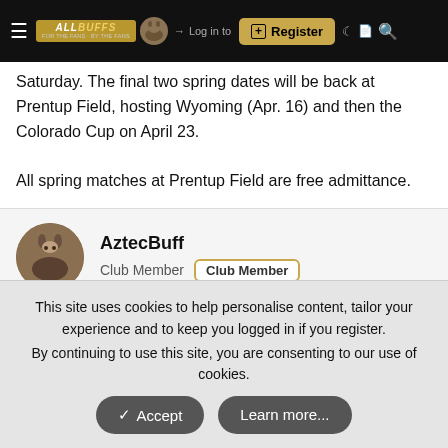AllBuffs navigation bar with Register button
Saturday. The final two spring dates will be back at Prentup Field, hosting Wyoming (Apr. 16) and then the Colorado Cup on April 23.

All spring matches at Prentup Field are free admittance.
AztecBuff — Club Member
Apr 2, 2022  #16
Looks like no score around 30 minutes in.
This site uses cookies to help personalise content, tailor your experience and to keep you logged in if you register.
By continuing to use this site, you are consenting to our use of cookies.
Accept  Learn more...